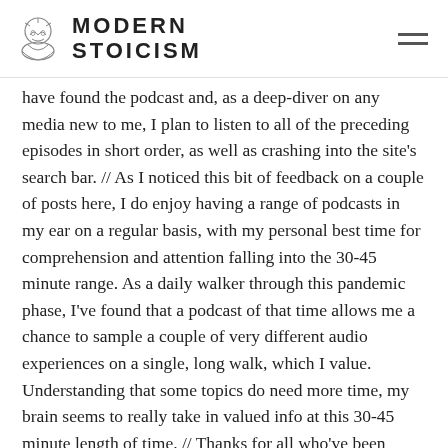MODERN STOICISM
have found the podcast and, as a deep-diver on any media new to me, I plan to listen to all of the preceding episodes in short order, as well as crashing into the site's search bar. // As I noticed this bit of feedback on a couple of posts here, I do enjoy having a range of podcasts in my ear on a regular basis, with my personal best time for comprehension and attention falling into the 30-45 minute range. As a daily walker through this pandemic phase, I've found that a podcast of that time allows me a chance to sample a couple of very different audio experiences on a single, long walk, which I value. Understanding that some topics do need more time, my brain seems to really take in valued info at this 30-45 minute length of time. // Thanks for all who've been involved in this effort. My Stoic “practice,” rudimentary as it is, dates only about a